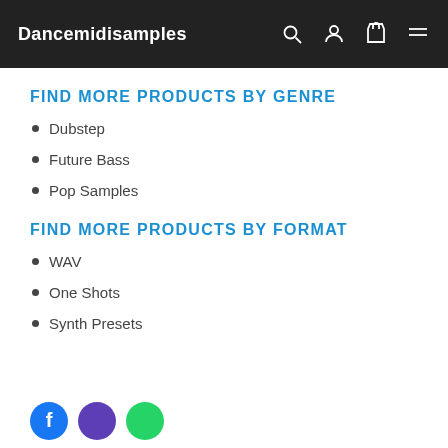Dancemidisamples
FIND MORE PRODUCTS BY GENRE
Dubstep
Future Bass
Pop Samples
FIND MORE PRODUCTS BY FORMAT
WAV
One Shots
Synth Presets
[Figure (other): Social media icon buttons (blue, purple, green circles) partially visible at bottom]